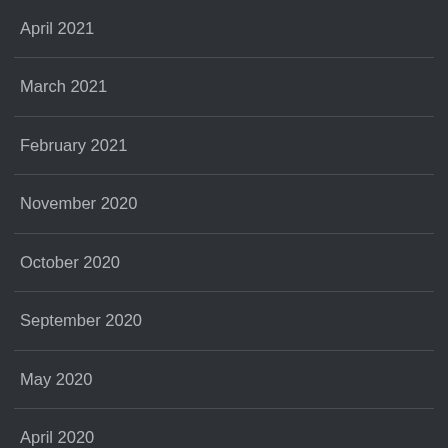April 2021
March 2021
February 2021
November 2020
October 2020
September 2020
May 2020
April 2020
March 2020
February 2020
May 2019
April 2019